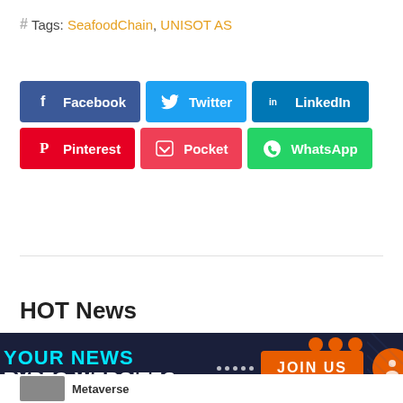# Tags: SeafoodChain, UNISOT AS
[Figure (other): Social media share buttons: Facebook (blue), Twitter (cyan), LinkedIn (dark blue), Pinterest (red), Pocket (pink-red), WhatsApp (green)]
HOT News
[Figure (infographic): Dark navy advertisement banner: 'YOUR NEWS' in cyan, 'CRYPTO WEBSITES' in white, dotted separator, orange JOIN US button, orange circle element, diagonal lines decoration]
Metaverse